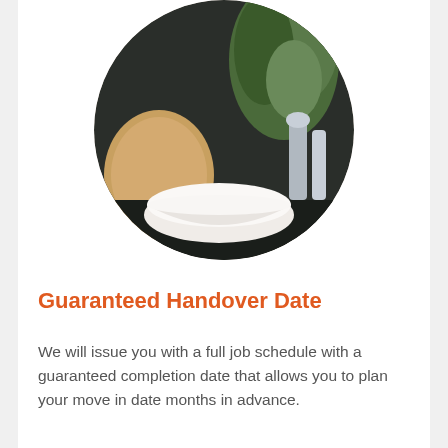[Figure (photo): Circular cropped photo showing a kitchen/home interior scene with a white ceramic bowl, a round wooden board, and a plant/vase with green leaves in the background against a dark backdrop.]
Guaranteed Handover Date
We will issue you with a full job schedule with a guaranteed completion date that allows you to plan your move in date months in advance.
[Figure (screenshot): Chat popup overlay showing an avatar of a man in a dark shirt, a close (X) button, and the text 'Got any questions? I'm happy to help.']
Capri Building Group Covid-19 Update
View More Information